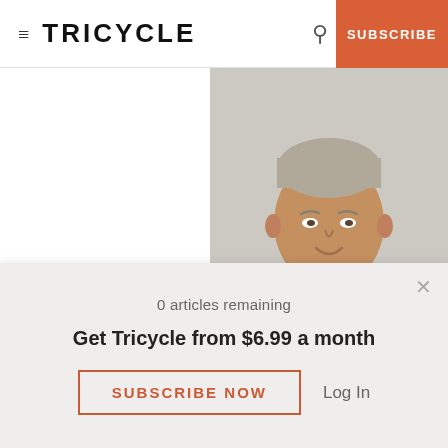≡ TRICYCLE  [search icon]  SUBSCRIBE
[Figure (photo): Portrait photo of a man (McLeod) wearing a beige/khaki collared shirt, photographed from the chest up against a light grey background. The man is middle-aged or older, smiling slightly.]
McLeod.  An excellent teacher, McLeod does just this in the vast majority of his blog: He teaches.  Through simple practice
0 articles remaining
Get Tricycle from $6.99 a month
SUBSCRIBE NOW
Log In